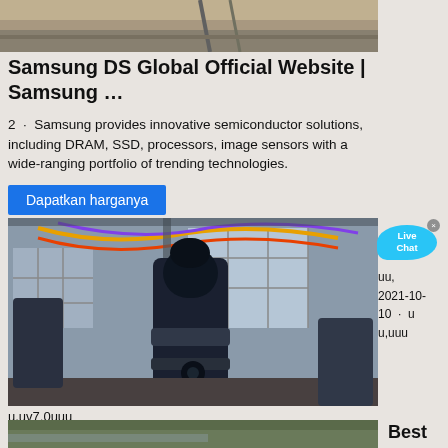[Figure (photo): Top partial image strip of industrial/warehouse scene]
Samsung DS Global Official Website | Samsung …
2 · Samsung provides innovative semiconductor solutions, including DRAM, SSD, processors, image sensors with a wide-ranging portfolio of trending technologies.
Dapatkan harganya
[Figure (photo): Large industrial machine (possibly a mill or press) inside a factory hall with colorful banner decorations]
uu,
2021-10-10 · u
u,uuu
u,uv7.0uuu
Dapatkan harganya
[Figure (photo): Bottom partial image strip]
Best